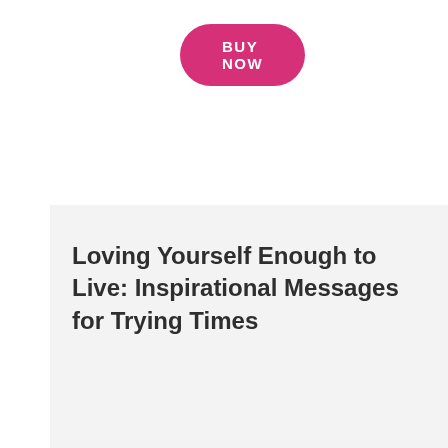[Figure (other): Pink rounded rectangle button with white bold uppercase text reading BUY NOW]
Loving Yourself Enough to Live: Inspirational Messages for Trying Times